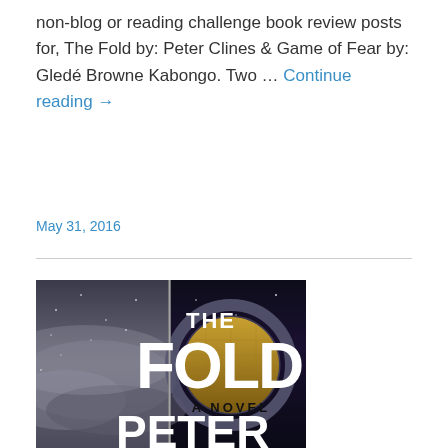non-blog or reading challenge book review posts for, The Fold by: Peter Clines & Game of Fear by: Gledé Browne Kabongo. Two … Continue reading →
May 31, 2016
[Figure (photo): Book cover of 'The Fold' by Peter Clines — a novel. The cover shows a split scene: left half is a stormy black-and-white sky/sea, right half is a golden-lit corridor/room with circular portal. Large white bold text reads 'THE FOLD' with 'A NOVEL' below and 'PETER' partially visible at the bottom.]